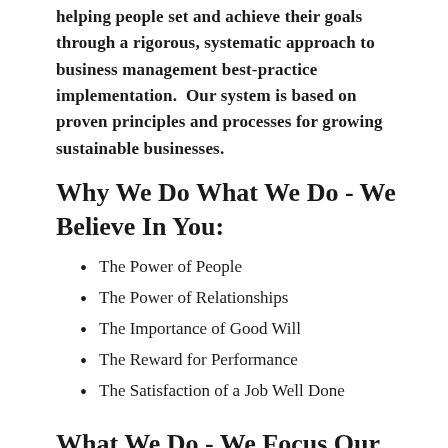helping people set and achieve their goals through a rigorous, systematic approach to business management best-practice implementation.  Our system is based on proven principles and processes for growing sustainable businesses.
Why We Do What We Do - We Believe In You:
The Power of People
The Power of Relationships
The Importance of Good Will
The Reward for Performance
The Satisfaction of a Job Well Done
What We Do - We Focus Our Attention On You: